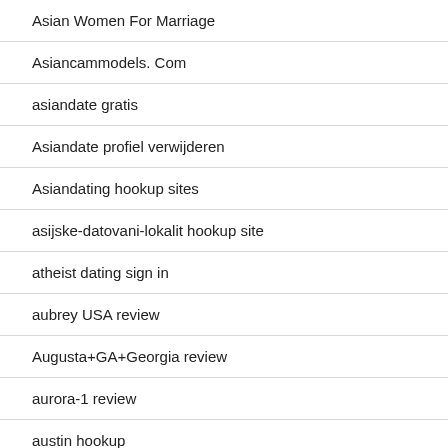Asian Women For Marriage
Asiancammodels. Com
asiandate gratis
Asiandate profiel verwijderen
Asiandating hookup sites
asijske-datovani-lokalit hookup site
atheist dating sign in
aubrey USA review
Augusta+GA+Georgia review
aurora-1 review
austin hookup